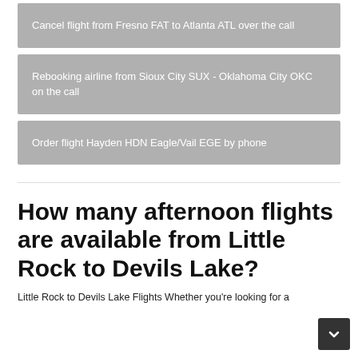Cancel flight from Fresno FAT to Atlanta ATL over the call
Rebooking airline from Sioux City SUX - Oklahoma City OKC on the call
Order flight Hayden HDN Eagle/Vail EGE by phone
How many afternoon flights are available from Little Rock to Devils Lake?
Little Rock to Devils Lake Flights Whether you're looking for a